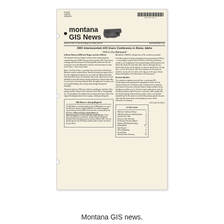Montana GIS News
2001 Intermountain GIS Users Conference in Boise, Idaho
"GIS in Our Backyard"
In Boise Rotary, 4,000 acre Bogus outside of Boise...
The Southern Rockies Chapter of Sierra Club would change the membership point of NRCS by some Intermountain GIS Users Group meetings and the inclusion of a Choosing GIS conference with the association of an Inter-Mountain mountain trails information to early meet Prime 1 - like to know when.
Boise, The City of Trees - a vacation also to the home of the Rocky Mountain research station Boise...
GIS News is being aligned! The GIS News is currently printed on over 2,000 people at a cost to the GIS Users Group of roughly $100.00. You will be recognized new articles by January 2002, some also then our fall email list the GIS News.
In This Issue table of contents listing various articles and page numbers.
Montana GIS news.